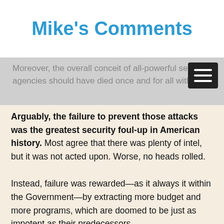Mike's Comments
Moreover, the overall conceit of all-powerful secret agencies should have died once and for all with 9/11.
Arguably, the failure to prevent those attacks was the greatest security foul-up in American history. Most agree that there was plenty of intel, but it was not acted upon. Worse, no heads rolled.
Instead, failure was rewarded—as it always it within the Government—by extracting more budget and more programs, which are doomed to be just as impotent as their predecessors.
The reason for this is the flaw inherent in the system, whereby the main problem with government is politics. As long as representatives want to keep getting reelected, they will tell the public what they think it wants to hear, and the answer is always more money. Indeed, the only difference between a liberal and a present day